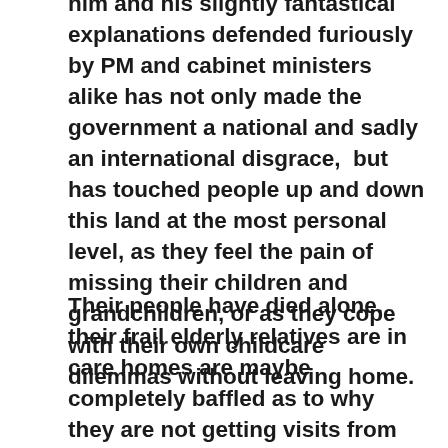him and his slightly fantastical explanations defended furiously by PM and cabinet ministers alike has not only made the government a national and sadly an international disgrace,  but has touched people up and down this land at the most personal level, as they feel the pain of missing their children and grandchildren, or as they cope with their own childcare dilemmas without leaving home.
Their people have died alone, their frail elderly relatives are in care homes are maybe completely baffled as to why they are not getting visits from loved ones.  Their houses and flats are crowded, and their children are climbing the walls.  I read an article about young people going back to school in Spain as we ease out of lockdown, and the thing they found hardest was not being able to hug each other because of the social distancing rules.  This lack of being able to show our normal affection for each